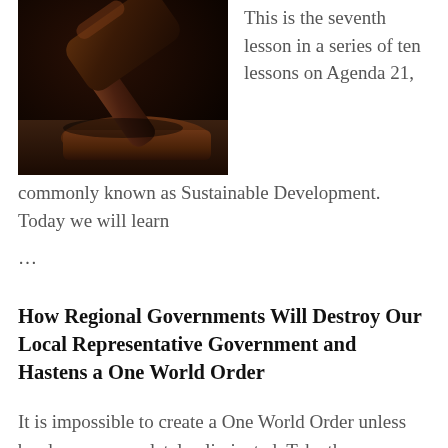[Figure (photo): Close-up photo of a dark leather judge's gavel striking a wooden sound block, set against a dark background.]
This is the seventh lesson in a series of ten lessons on Agenda 21, commonly known as Sustainable Development. Today we will learn …
How Regional Governments Will Destroy Our Local Representative Government and Hastens a One World Order
It is impossible to create a One World Order unless borders are completely eliminated. Take the